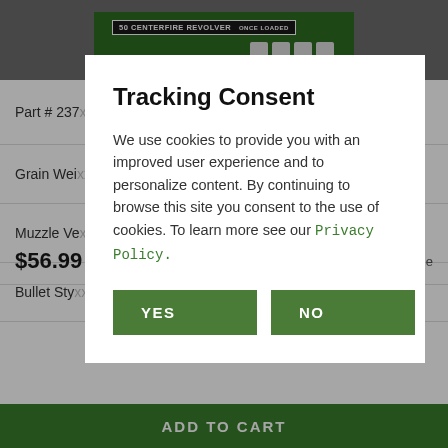[Figure (screenshot): Product page background showing ammunition box image, part number row, grain weight row, muzzle velocity row, bullet style row, price $56.99, and Add to Cart button]
Tracking Consent
We use cookies to provide you with an improved user experience and to personalize content. By continuing to browse this site you consent to the use of cookies. To learn more see our Privacy Policy.
YES
NO